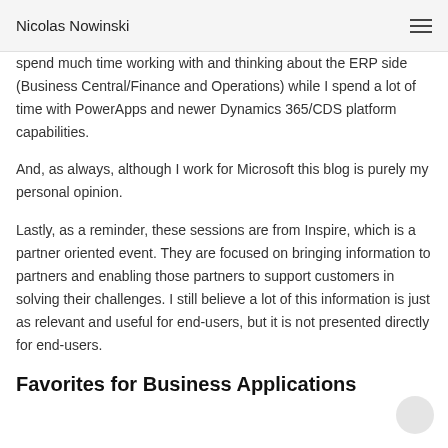Nicolas Nowinski
spend much time working with and thinking about the ERP side (Business Central/Finance and Operations) while I spend a lot of time with PowerApps and newer Dynamics 365/CDS platform capabilities.
And, as always, although I work for Microsoft this blog is purely my personal opinion.
Lastly, as a reminder, these sessions are from Inspire, which is a partner oriented event. They are focused on bringing information to partners and enabling those partners to support customers in solving their challenges. I still believe a lot of this information is just as relevant and useful for end-users, but it is not presented directly for end-users.
Favorites for Business Applications